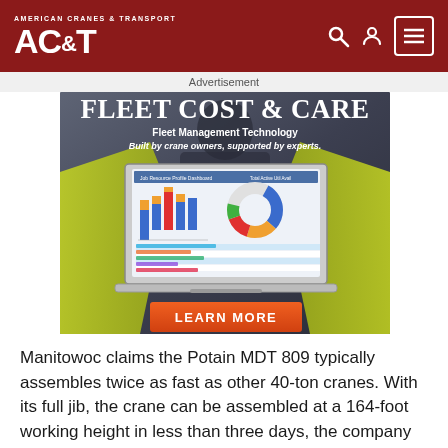AMERICAN CRANES & TRANSPORT — AC&T
Advertisement
[Figure (screenshot): Fleet Cost & Care advertisement banner showing a person in a high-visibility jacket holding a laptop with fleet management software. Text reads: FLEET COST & CARE, Fleet Management Technology, Built by crane owners, supported by experts. Orange LEARN MORE button at the bottom.]
Manitowoc claims the Potain MDT 809 typically assembles twice as fast as other 40-ton cranes. With its full jib, the crane can be assembled at a 164-foot working height in less than three days, the company